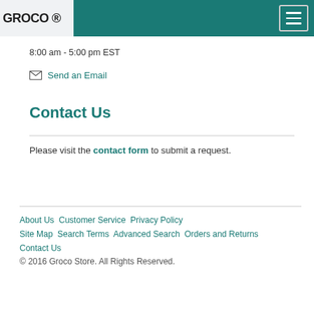GROCO ®
8:00 am - 5:00 pm EST
Send an Email
Contact Us
Please visit the contact form to submit a request.
About Us  Customer Service  Privacy Policy  Site Map  Search Terms  Advanced Search  Orders and Returns  Contact Us  © 2016 Groco Store. All Rights Reserved.